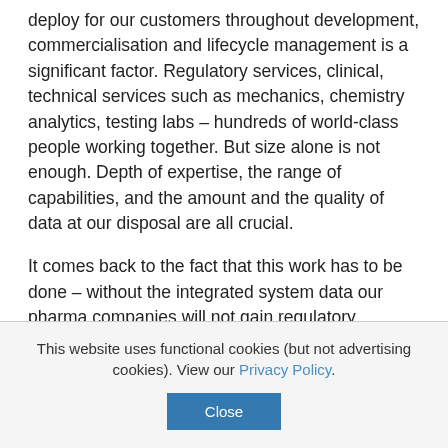deploy for our customers throughout development, commercialisation and lifecycle management is a significant factor. Regulatory services, clinical, technical services such as mechanics, chemistry analytics, testing labs – hundreds of world-class people working together. But size alone is not enough. Depth of expertise, the range of capabilities, and the amount and the quality of data at our disposal are all crucial.
It comes back to the fact that this work has to be done – without the integrated system data our pharma companies will not gain regulatory approval for their combination products. It really represents an added
This website uses functional cookies (but not advertising cookies). View our Privacy Policy.